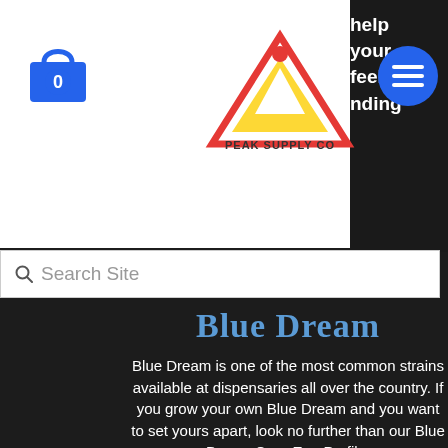[Figure (logo): Peak Supply Co logo with triangle/mountain graphic in red and yellow, above text 'PEAK SUPPLY CO']
[Figure (logo): Blue shopping bag icon with white '0' in center]
[Figure (other): Blue circular hamburger menu button]
help your feel nding
Search Site
Blue Dream
Blue Dream is one of the most common strains available at dispensaries all over the country. If you grow your own Blue Dream and you want to set yours apart, look no further than our Blue Dream Cure-Egg Profile.
Our Blue Dream Cure-Egg terpene profile is designed for use with your Cure Egg. This terpene profile utilizes a combination of Live Terpenes, Botanicals, and Organic flavors/aromas designed to work with the pre-existing aroma of the